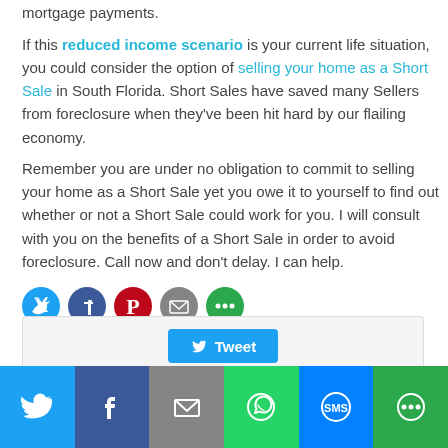mortgage payments.
If this reduced income scenario is your current life situation, you could consider the option of selling your home as a Short Sale in South Florida. Short Sales have saved many Sellers from foreclosure when they've been hit hard by our flailing economy.
Remember you are under no obligation to commit to selling your home as a Short Sale yet you owe it to yourself to find out whether or not a Short Sale could work for you. I will consult with you on the benefits of a Short Sale in order to avoid foreclosure. Call now and don't delay. I can help.
[Figure (infographic): Social share icon buttons: Twitter (blue), Facebook (dark blue), Pinterest (red), Email (gray), More (green)]
[Figure (infographic): Tweet button inside a gray rounded box]
[Figure (infographic): Bottom share bar with Twitter, Facebook, Email, WhatsApp, SMS, More buttons in colored sections]